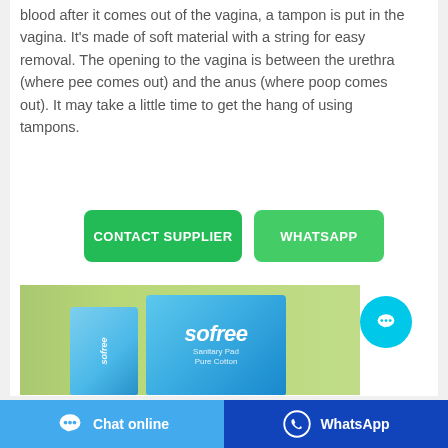blood after it comes out of the vagina, a tampon is put in the vagina. It's made of soft material with a string for easy removal. The opening to the vagina is between the urethra (where pee comes out) and the anus (where poop comes out). It may take a little time to get the hang of using tampons.
[Figure (other): Two green buttons side by side: CONTACT SUPPLIER and WHATSAPP]
[Figure (photo): Product photo showing Sofree sanitary pads packaging — a slim blue box and a larger blue box labeled 'sofree Sanitary Pad Pure Cotton' against a green background]
[Figure (other): Cyan circular chat bubble button floating on right side]
[Figure (other): Bottom navigation bar with two buttons: Chat online (light blue) and WhatsApp (dark blue)]